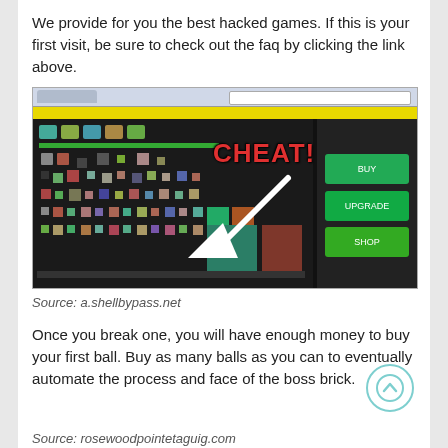We provide for you the best hacked games. If this is your first visit, be sure to check out the faq by clicking the link above.
[Figure (screenshot): Screenshot of a browser window showing a hacked game with colorful game elements and a large 'CHEAT!' label in red with a white arrow pointing downward-left toward a game element.]
Source: a.shellbypass.net
Once you break one, you will have enough money to buy your first ball. Buy as many balls as you can to eventually automate the process and face of the boss brick.
Source: rosewoodpointetaguig.com